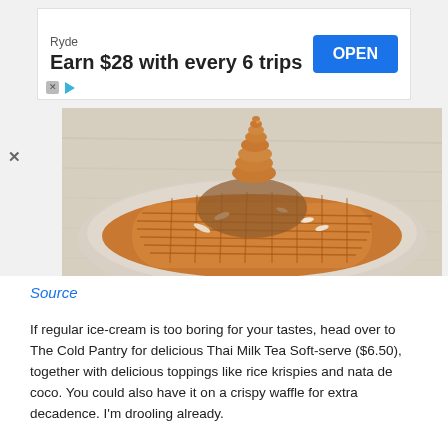[Figure (screenshot): Advertisement banner for Ryde app: 'Earn $28 with every 6 trips' with OPEN button]
[Figure (photo): A plate with a crispy waffle topped with ice cream swirl, coconut flakes, and various toppings on a wooden table]
Source
If regular ice-cream is too boring for your tastes, head over to The Cold Pantry for delicious Thai Milk Tea Soft-serve ($6.50), together with delicious toppings like rice krispies and nata de coco. You could also have it on a crispy waffle for extra decadence. I'm drooling already.